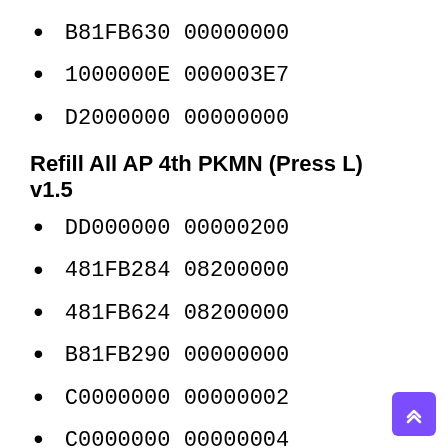B81FB630 00000000
1000000E 000003E7
D2000000 00000000
Refill All AP 4th PKMN (Press L) v1.5
DD000000 00000200
481FB284 08200000
481FB624 08200000
B81FB290 00000000
C0000000 00000002
C0000000 00000004
DB000000 00000119
D8000000 00000118